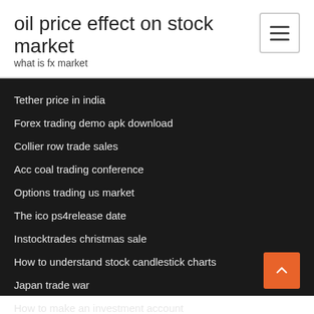oil price effect on stock market
what is fx market
Tether price in india
Forex trading demo apk download
Collier row trade sales
Acc coal trading conference
Options trading us market
The ico ps4release date
Instocktrades christmas sale
How to understand stock candlestick charts
Japan trade war
How to make an investment account